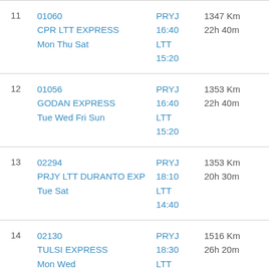| # | Train | Route/Time | Distance/Duration |
| --- | --- | --- | --- |
| 11 | 01060
CPR LTT EXPRESS
Mon Thu Sat | PRYJ
16:40
LTT
15:20 | 1347 Km
22h 40m |
| 12 | 01056
GODAN EXPRESS
Tue Wed Fri Sun | PRYJ
16:40
LTT
15:20 | 1353 Km
22h 40m |
| 13 | 02294
PRJY LTT DURANTO EXP
Tue Sat | PRYJ
18:10
LTT
14:40 | 1353 Km
20h 30m |
| 14 | 02130
TULSI EXPRESS
Mon Wed | PRYJ
18:30
LTT
20:50 | 1516 Km
26h 20m |